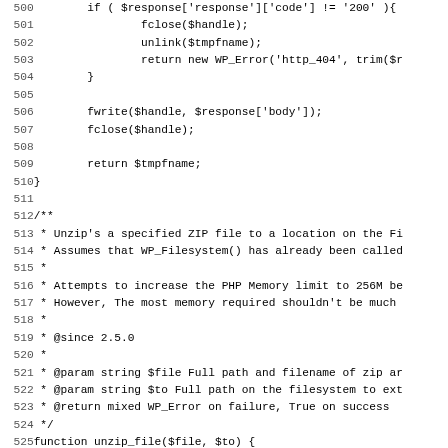[Figure (screenshot): Source code listing (PHP) showing lines 500-531, including conditional response check, fclose/unlink/return statements, fwrite, return $tmpfname, closing brace, PHPDoc block for unzip_file function, and start of function unzip_file definition.]